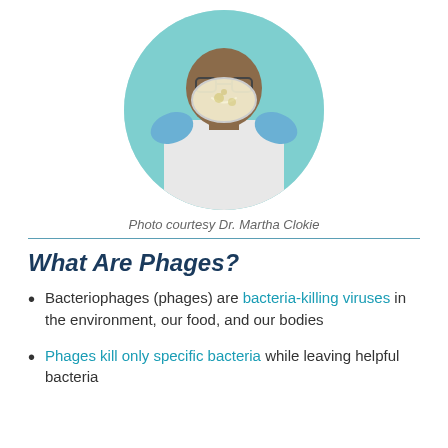[Figure (photo): A smiling scientist in a white lab coat and blue gloves holding up a petri dish, shown in a circular crop with teal background]
Photo courtesy Dr. Martha Clokie
What Are Phages?
Bacteriophages (phages) are bacteria-killing viruses in the environment, our food, and our bodies
Phages kill only specific bacteria while leaving helpful bacteria